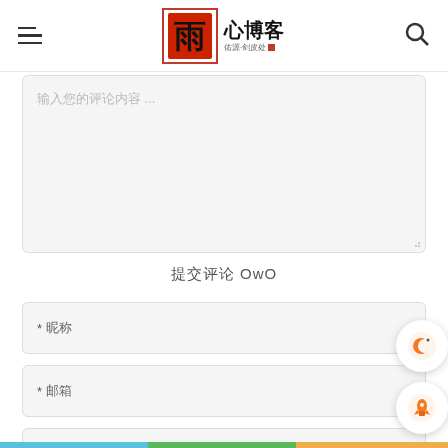雨心博客 navigation header with hamburger menu and search icon
输入您的评论内容 ...
提交评论 OwO
* 昵称
* 邮箱
博客地址